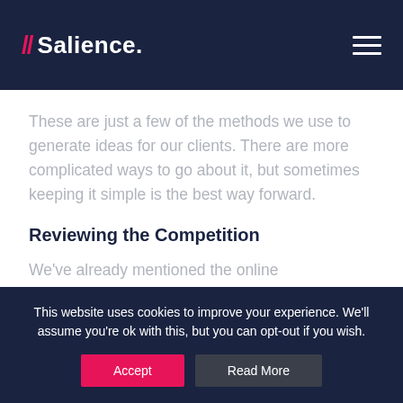// Salience.
These are just a few of the methods we use to generate ideas for our clients. There are more complicated ways to go about it, but sometimes keeping it simple is the best way forward.
Reviewing the Competition
We've already mentioned the online discussion about what is at the...
This website uses cookies to improve your experience. We'll assume you're ok with this, but you can opt-out if you wish.